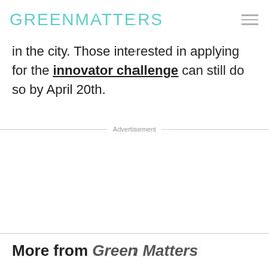GREENMATTERS
in the city. Those interested in applying for the innovator challenge can still do so by April 20th.
Advertisement
More from Green Matters